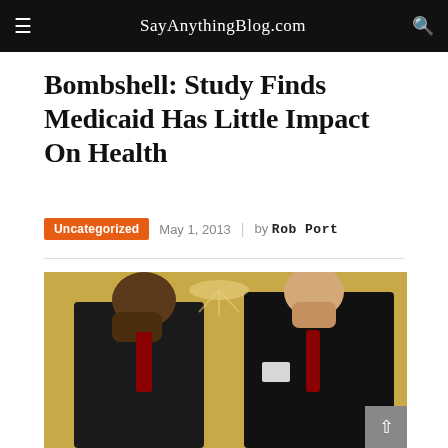SayAnythingBlog.com
Bombshell: Study Finds Medicaid Has Little Impact On Health
Uncategorized  May 1, 2013  |  by Rob Port
[Figure (photo): Two men in dark suits, one on the left and one on the right, both bowing their heads and covering their faces with their hands. Background shows golden curtains and a chandelier. Appears to be a formal setting such as the White House.]